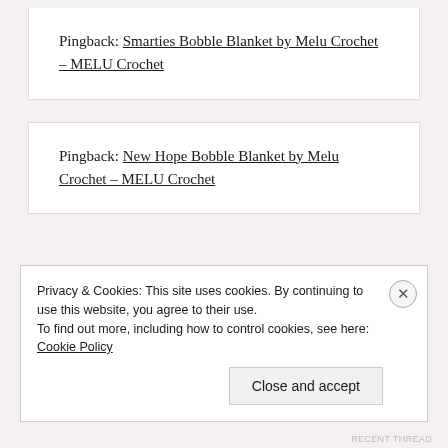Pingback: Smarties Bobble Blanket by Melu Crochet – MELU Crochet
Pingback: New Hope Bobble Blanket by Melu Crochet – MELU Crochet
Privacy & Cookies: This site uses cookies. By continuing to use this website, you agree to their use.
To find out more, including how to control cookies, see here: Cookie Policy
RECENT THREAD